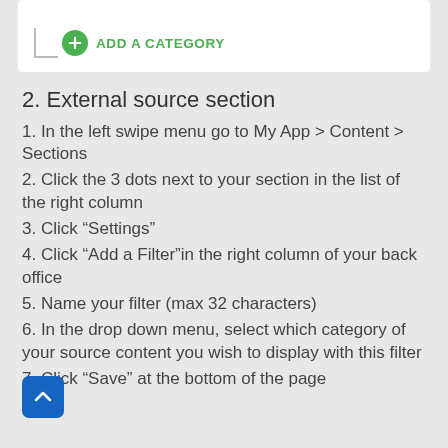[Figure (screenshot): White card with a tree-line and green ADD A CATEGORY button]
2. External source section
1. In the left swipe menu go to My App > Content > Sections
2. Click the 3 dots next to your section in the list of the right column
3. Click “Settings”
4. Click “Add a Filter”in the right column of your back office
5. Name your filter (max 32 characters)
6. In the drop down menu, select which category of your source content you wish to display with this filter
7. Click “Save” at the bottom of the page